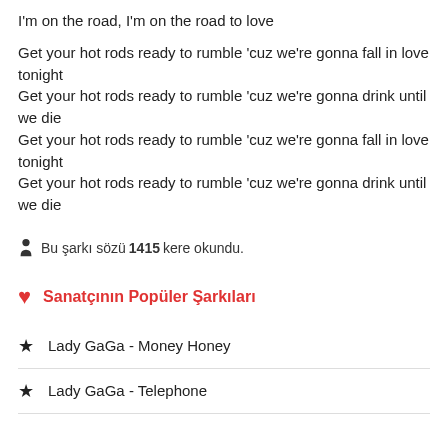I'm on the road, I'm on the road to love
Get your hot rods ready to rumble 'cuz we're gonna fall in love tonight
Get your hot rods ready to rumble 'cuz we're gonna drink until we die
Get your hot rods ready to rumble 'cuz we're gonna fall in love tonight
Get your hot rods ready to rumble 'cuz we're gonna drink until we die
Bu şarkı sözü 1415 kere okundu.
Sanatçının Popüler Şarkıları
Lady GaGa - Money Honey
Lady GaGa - Telephone